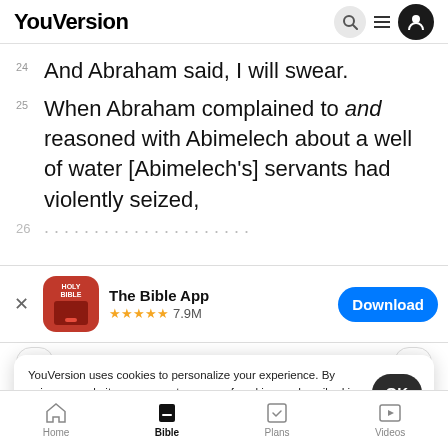YouVersion
24 And Abraham said, I will swear.
25 When Abraham complained to and reasoned with Abimelech about a well of water [Abimelech's] servants had violently seized,
[Figure (screenshot): App store banner for The Bible App with icon, 5-star rating 7.9M, and Download button]
27 So...them to...Abimelech, and the two men made a
YouVersion uses cookies to personalize your experience. By using our website, you accept our use of cookies as described in our Privacy Policy.
Home | Bible | Plans | Videos